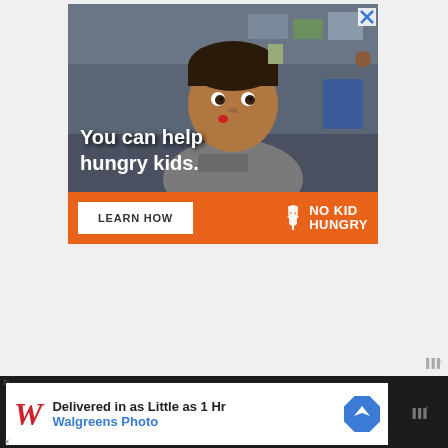[Figure (photo): Advertisement for No Kid Hungry charity. Top portion shows a young boy in a classroom eating something with his hand raised to his mouth, with text overlay 'You can help hungry kids.' Below is an orange bar with a 'LEARN HOW' button and the No Kid Hungry logo. A close (X) button is in the top right corner.]
[Figure (infographic): Bottom banner advertisement for Walgreens Photo showing 'Delivered in as Little as 1 Hr' with Walgreens Photo branding (red W logo), text in black and blue, and a blue navigation/directions diamond icon. Dark background surrounds the white ad panel. Small ad label and arrow icon visible.]